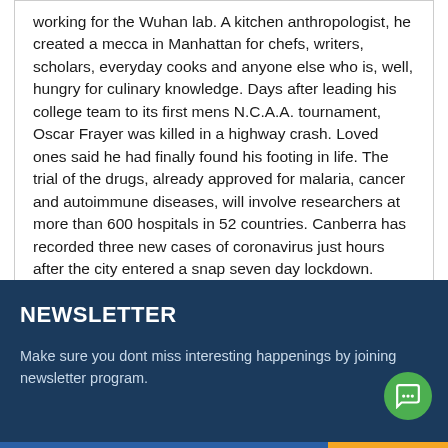working for the Wuhan lab. A kitchen anthropologist, he created a mecca in Manhattan for chefs, writers, scholars, everyday cooks and anyone else who is, well, hungry for culinary knowledge. Days after leading his college team to its first mens N.C.A.A. tournament, Oscar Frayer was killed in a highway crash. Loved ones said he had finally found his footing in life. The trial of the drugs, already approved for malaria, cancer and autoimmune diseases, will involve researchers at more than 600 hospitals in 52 countries. Canberra has recorded three new cases of coronavirus just hours after the city entered a snap seven day lockdown. Answering some basic questions, and some big ones, about today's rate price genox sale legally canada cut.
NEWSLETTER
Make sure you dont miss interesting happenings by joining newsletter program.